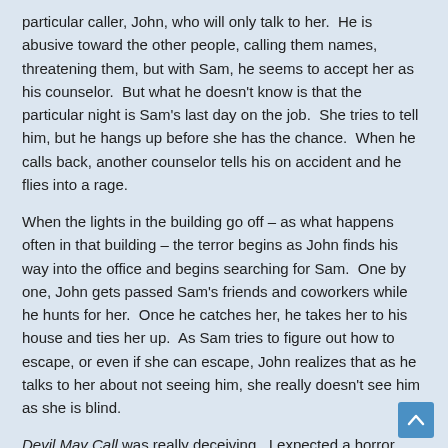particular caller, John, who will only talk to her.  He is abusive toward the other people, calling them names, threatening them, but with Sam, he seems to accept her as his counselor.  But what he doesn't know is that the particular night is Sam's last day on the job.  She tries to tell him, but he hangs up before she has the chance.  When he calls back, another counselor tells his on accident and he flies into a rage.
When the lights in the building go off – as what happens often in that building – the terror begins as John finds his way into the office and begins searching for Sam.  One by one, John gets passed Sam's friends and coworkers while he hunts for her.  Once he catches her, he takes her to his house and ties her up.  As Sam tries to figure out how to escape, or even if she can escape, John realizes that as he talks to her about not seeing him, she really doesn't see him as she is blind.
Devil May Call was really deceiving.  I expected a horror movie, what I got was some sad attempt at one.  It wasn't scary, it wasn't suspenseful and quite honestly, I'm not sure why the main character was even blind.  The actors weren't too bad, but it was nothing impressive or to write home about.  It was good effort by the director, who I think, if